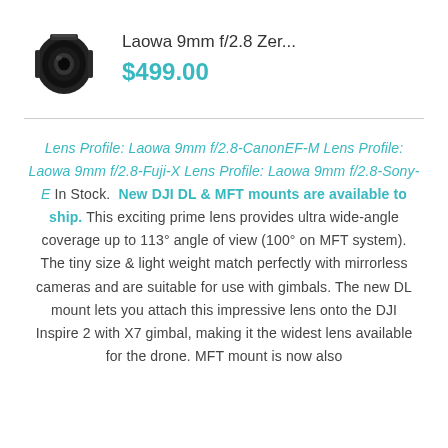[Figure (photo): Small black wide-angle camera lens product photo thumbnail]
Laowa 9mm f/2.8 Zer...
$499.00
Lens Profile: Laowa 9mm f/2.8-CanonEF-M Lens Profile: Laowa 9mm f/2.8-Fuji-X Lens Profile: Laowa 9mm f/2.8-Sony-E In Stock.  New DJI DL & MFT mounts are available to ship. This exciting prime lens provides ultra wide-angle coverage up to 113° angle of view (100° on MFT system). The tiny size & light weight match perfectly with mirrorless cameras and are suitable for use with gimbals. The new DL mount lets you attach this impressive lens onto the DJI Inspire 2 with X7 gimbal, making it the widest lens available for the drone. MFT mount is now also